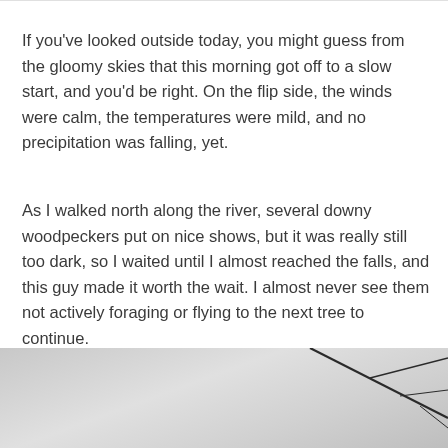If you've looked outside today, you might guess from the gloomy skies that this morning got off to a slow start, and you'd be right. On the flip side, the winds were calm, the temperatures were mild, and no precipitation was falling, yet.
As I walked north along the river, several downy woodpeckers put on nice shows, but it was really still too dark, so I waited until I almost reached the falls, and this guy made it worth the wait. I almost never see them not actively foraging or flying to the next tree to continue.
[Figure (photo): Partially visible photograph showing blurry grey background (overcast sky or mist) with thin dark bare branches visible on the right side of the image. The image is cropped at the bottom of the page.]